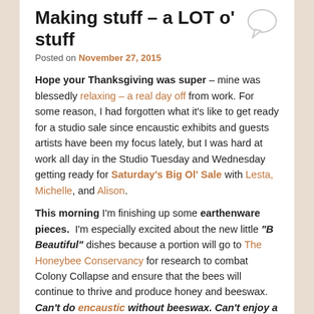Making stuff – a LOT o' stuff
Posted on November 27, 2015
Hope your Thanksgiving was super – mine was blessedly relaxing – a real day off from work. For some reason, I had forgotten what it's like to get ready for a studio sale since encaustic exhibits and guests artists have been my focus lately, but I was hard at work all day in the Studio Tuesday and Wednesday getting ready for Saturday's Big Ol' Sale with Lesta, Michelle, and Alison.
This morning I'm finishing up some earthenware pieces. I'm especially excited about the new little "B Beautiful" dishes because a portion will go to The Honeybee Conservancy for research to combat Colony Collapse and ensure that the bees will continue to thrive and produce honey and beeswax. Can't do encaustic without beeswax. Can't enjoy a sopaipilla without honey! Here's a preview of the B Beautiful dishes. They